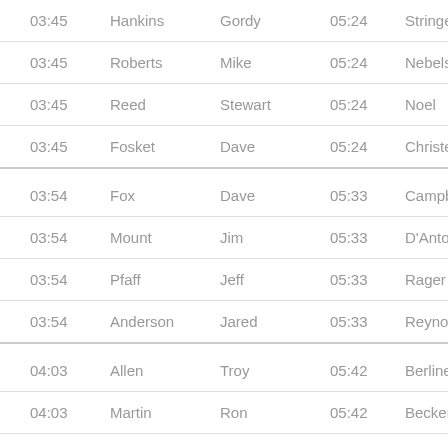| Time | Last | First | Time2 | Last2 |
| --- | --- | --- | --- | --- |
| 03:45 | Hankins | Gordy | 05:24 | Stringer |
| 03:45 | Roberts | Mike | 05:24 | Nebelsick |
| 03:45 | Reed | Stewart | 05:24 | Noel |
| 03:45 | Fosket | Dave | 05:24 | Christensen |
| 03:54 | Fox | Dave | 05:33 | Campbell |
| 03:54 | Mount | Jim | 05:33 | D'Antonio |
| 03:54 | Pfaff | Jeff | 05:33 | Rager |
| 03:54 | Anderson | Jared | 05:33 | Reynolds |
| 04:03 | Allen | Troy | 05:42 | Berliner |
| 04:03 | Martin | Ron | 05:42 | Becker |